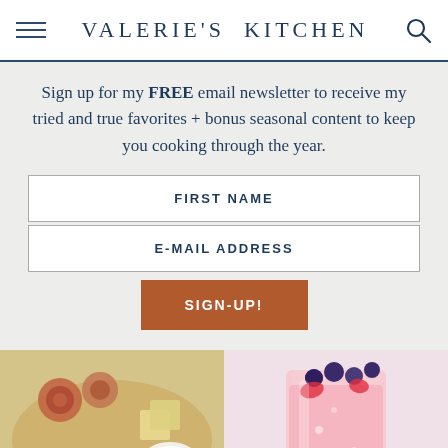VALERIE'S KITCHEN
Sign up for my FREE email newsletter to receive my tried and true favorites + bonus seasonal content to keep you cooking through the year.
FIRST NAME
E-MAIL ADDRESS
SIGN-UP!
[Figure (photo): Charcuterie board with meats and crackers]
[Figure (photo): Pink drink with blueberries]